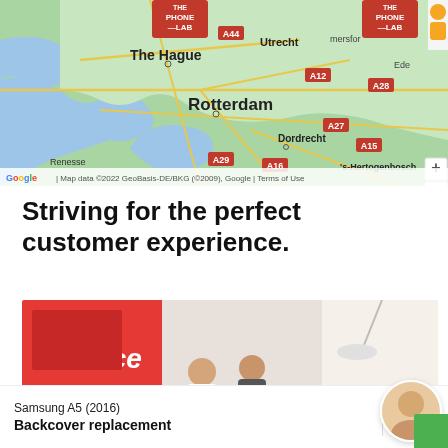[Figure (map): Google Maps screenshot showing the Netherlands region with The Hague, Rotterdam, Utrecht, Dordrecht, 's-Hertogenbosch visible. Two red 'THE PHONE LAB' markers on the map. Road labels A44, A28, A12, A27, A15, A29, A16 visible. Map data ©2022 GeoBasis-DE/BKG (©2009), Google. Terms of Use shown.]
Striving for the perfect customer experience.
[Figure (photo): Photo of a phone repair service center interior with red 'Service' wall signage, staff and customers at counters.]
Samsung A5 (2016)
Backcover replacement
COSTS
€40